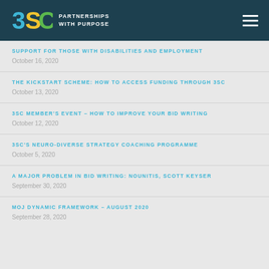3SC PARTNERSHIPS WITH PURPOSE
SUPPORT FOR THOSE WITH DISABILITIES AND EMPLOYMENT | October 16, 2020
THE KICKSTART SCHEME: HOW TO ACCESS FUNDING THROUGH 3SC | October 13, 2020
3SC MEMBER'S EVENT – HOW TO IMPROVE YOUR BID WRITING | October 12, 2020
3SC'S NEURO-DIVERSE STRATEGY COACHING PROGRAMME | October 5, 2020
A MAJOR PROBLEM IN BID WRITING: NOUNITIS, SCOTT KEYSER | September 30, 2020
MOJ DYNAMIC FRAMEWORK – AUGUST 2020 | September 28, 2020